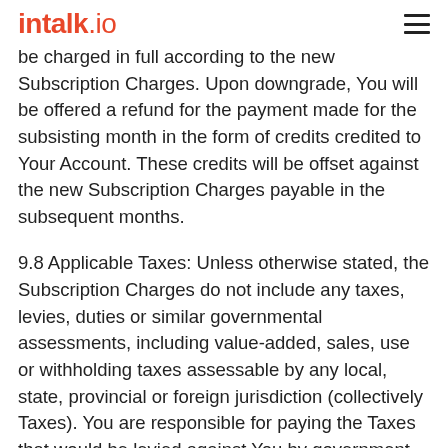intalk.io
be charged in full according to the new Subscription Charges. Upon downgrade, You will be offered a refund for the payment made for the subsisting month in the form of credits credited to Your Account. These credits will be offset against the new Subscription Charges payable in the subsequent months.
9.8 Applicable Taxes: Unless otherwise stated, the Subscription Charges do not include any taxes, levies, duties or similar governmental assessments, including value-added, sales, use or withholding taxes assessable by any local, state, provincial or foreign jurisdiction (collectively Taxes). You are responsible for paying the Taxes that would be levied against You by government authorities. We will invoice You for such Taxes if We believe We